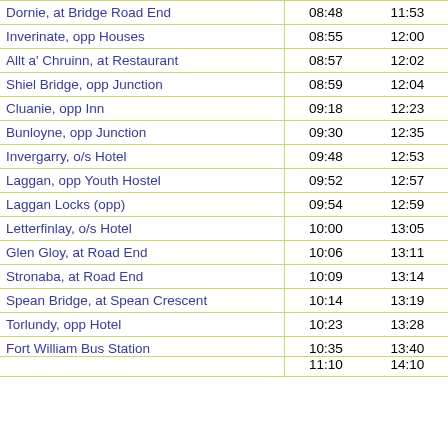| Stop | Time 1 | Time 2 |
| --- | --- | --- |
| Dornie, at Bridge Road End | 08:48 | 11:53 |
| Inverinate, opp Houses | 08:55 | 12:00 |
| Allt a' Chruinn, at Restaurant | 08:57 | 12:02 |
| Shiel Bridge, opp Junction | 08:59 | 12:04 |
| Cluanie, opp Inn | 09:18 | 12:23 |
| Bunloyne, opp Junction | 09:30 | 12:35 |
| Invergarry, o/s Hotel | 09:48 | 12:53 |
| Laggan, opp Youth Hostel | 09:52 | 12:57 |
| Laggan Locks (opp) | 09:54 | 12:59 |
| Letterfinlay, o/s Hotel | 10:00 | 13:05 |
| Glen Gloy, at Road End | 10:06 | 13:11 |
| Stronaba, at Road End | 10:09 | 13:14 |
| Spean Bridge, at Spean Crescent | 10:14 | 13:19 |
| Torlundy, opp Hotel | 10:23 | 13:28 |
| Fort William Bus Station | 10:35 | 13:40 |
|  | 11:10 | 14:10 |